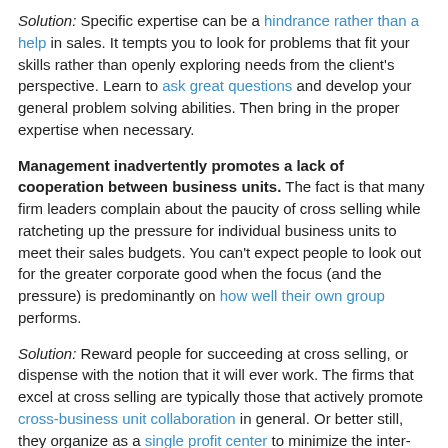Solution: Specific expertise can be a hindrance rather than a help in sales. It tempts you to look for problems that fit your skills rather than openly exploring needs from the client's perspective. Learn to ask great questions and develop your general problem solving abilities. Then bring in the proper expertise when necessary.
Management inadvertently promotes a lack of cooperation between business units. The fact is that many firm leaders complain about the paucity of cross selling while ratcheting up the pressure for individual business units to meet their sales budgets. You can't expect people to look out for the greater corporate good when the focus (and the pressure) is predominantly on how well their own group performs.
Solution: Reward people for succeeding at cross selling, or dispense with the notion that it will ever work. The firms that excel at cross selling are typically those that actively promote cross-business unit collaboration in general. Or better still, they organize as a single profit center to minimize the inter-company competition.